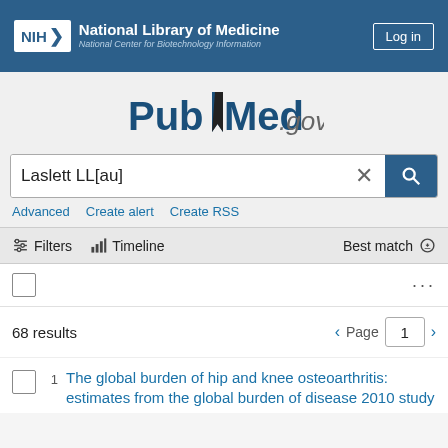NIH National Library of Medicine National Center for Biotechnology Information | Log in
[Figure (logo): PubMed.gov logo with bookmark icon]
Laslett LL[au]
Advanced  Create alert  Create RSS
Filters  Timeline  Best match
68 results  Page 1
1  The global burden of hip and knee osteoarthritis: estimates from the global burden of disease 2010 study